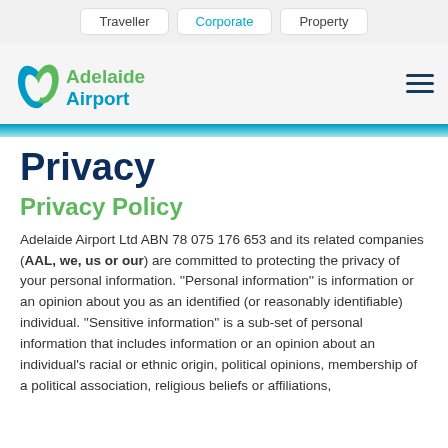Traveller | Corporate | Property
[Figure (logo): Adelaide Airport logo with stylized 'A' icon in blue and green, text 'Adelaide Airport' in green and blue]
Privacy
Privacy Policy
Adelaide Airport Ltd ABN 78 075 176 653 and its related companies (AAL, we, us or our) are committed to protecting the privacy of your personal information. ''Personal information'' is information or an opinion about you as an identified (or reasonably identifiable) individual. ''Sensitive information'' is a sub-set of personal information that includes information or an opinion about an individual's racial or ethnic origin, political opinions, membership of a political association, religious beliefs or affiliations,